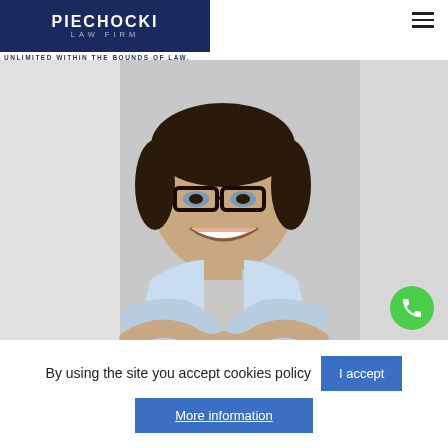[Figure (logo): Piechocki Law Firm logo — dark navy background with white text 'PIECHOCKI' and 'LAW FIRM' in spaced caps]
UNLIMITED WITHIN THE BOUNDS OF LAW.
[Figure (photo): Professional photo of a smiling man with glasses wearing a light blue shirt, arms crossed, against a grey background]
By using the site you accept cookies policy
I accept
More information